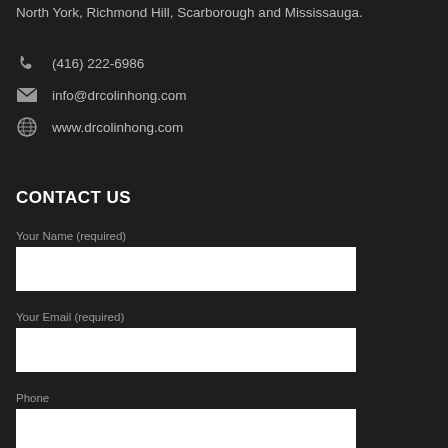North York, Richmond Hill, Scarborough and Mississauga.
(416) 222-6986
info@drcolinhong.com
www.drcolinhong.com
CONTACT US
Your Name (required)
Your Email (required)
Phone